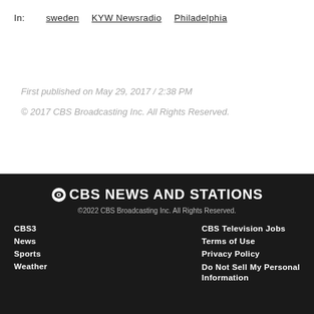In:  sweden  KYW Newsradio  Philadelphia
First published on May 29, 2017 / 2:38 PM
© 2017 CBS Broadcasting Inc. All Rights Reserved.
CBS NEWS AND STATIONS
©2022 CBS Broadcasting Inc. All Rights Reserved.
CBS3  CBS Television Jobs
News  Terms of Use
Sports  Privacy Policy
Weather  Do Not Sell My Personal Information